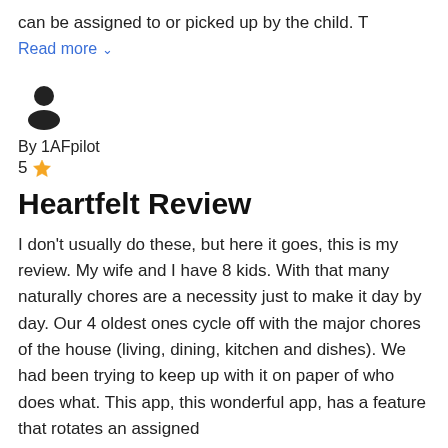can be assigned to or picked up by the child. T
Read more ▾
By 1AFpilot
5 ☆
Heartfelt Review
I don't usually do these, but here it goes, this is my review. My wife and I have 8 kids. With that many naturally chores are a necessity just to make it day by day. Our 4 oldest ones cycle off with the major chores of the house (living, dining, kitchen and dishes). We had been trying to keep up with it on paper of who does what. This app, this wonderful app, has a feature that rotates an assigned
Read more ▾